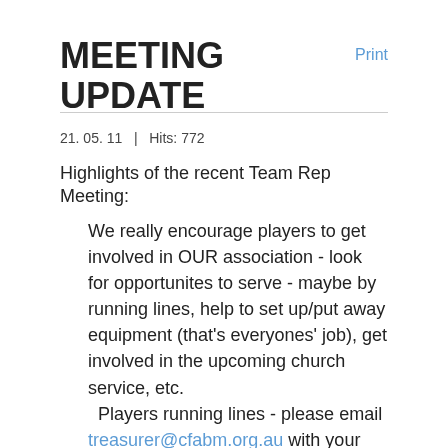MEETING UPDATE
Print
21. 05. 11   |   Hits: 772
Highlights of the recent Team Rep Meeting:
We really encourage players to get involved in OUR association - look for opportunites to serve - maybe by running lines, help to set up/put away equipment (that's everyones' job), get involved in the upcoming church service, etc.
  Players running lines - please email treasurer@cfabm.org.au with your bank details so you can be paid (except for those paying off their rego).